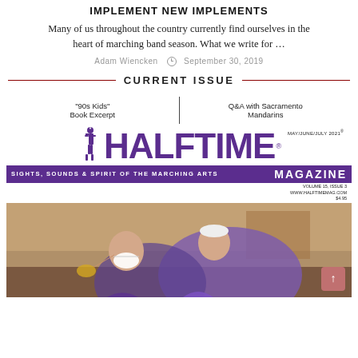IMPLEMENT NEW IMPLEMENTS
Many of us throughout the country currently find ourselves in the heart of marching band season. What we write for …
Adam Wiencken  September 30, 2019
CURRENT ISSUE
[Figure (photo): Halftime Magazine cover for May/June/July 2021, Volume 15 Issue 3. Features the Halftime Magazine masthead in purple with 'SIGHTS, SOUNDS & SPIRIT OF THE MARCHING ARTS' tagline. Cover articles: '90s Kids' Book Excerpt and Q&A with Sacramento Mandarins. Photo shows color guard performers, one wearing a white mask, in purple costumes.]
VOLUME 15, ISSUE 3
WWW.HALFTIMEMAG.COM
$4.95